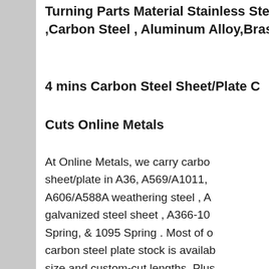Turning Parts Material Stainless Steel ,Carbon Steel , Aluminum Alloy,Brass
4 mins Carbon Steel Sheet/Plate Cuts Online Metals
At Online Metals, we carry carbon sheet/plate in A36, A569/A1011, A606/A588A weathering steel , A galvanized steel sheet , A366-100 Spring, & 1095 Spring . Most of our carbon steel plate stock is available size and custom-cut lengths. Plus can enjoy the convenience of pricing and ordering online and having it New and hot all kinds of carbon steel plateSteel Plate Grades - Continental Steel & Tube CompanyPlates over 1 1/2 have carbon increasing to (0.20-0.33), this is a killed
[Figure (photo): Customer service representative wearing a headset, smiling. Overlay with dark blue background showing '7X24 Online' header, 'Hello,may I help you?' message, and 'Get Latest Price' yellow button.]